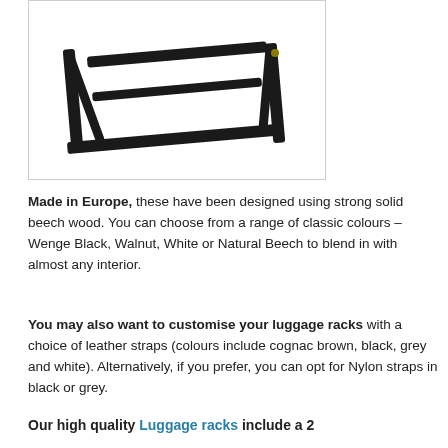[Figure (photo): A black metal luggage rack with angular frame, shown at an angle against a white background.]
Made in Europe, these have been designed using strong solid beech wood. You can choose from a range of classic colours – Wenge Black, Walnut, White or Natural Beech to blend in with almost any interior.
You may also want to customise your luggage racks with a choice of leather straps (colours include cognac brown, black, grey and white). Alternatively, if you prefer, you can opt for Nylon straps in black or grey.
Our high quality Luggage racks include a 2